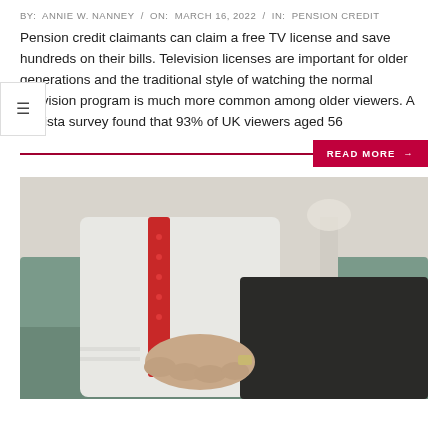BY: ANNIE W. NANNEY / ON: MARCH 16, 2022 / IN: PENSION CREDIT
Pension credit claimants can claim a free TV license and save hundreds on their bills. Television licenses are important for older generations and the traditional style of watching the normal television program is much more common among older viewers. A Statista survey found that 93% of UK viewers aged 56
[Figure (photo): Elderly man sitting in an armchair, wearing a white shirt with red patterned suspenders/tie, hands resting on his lap, with a teal/green sofa visible]